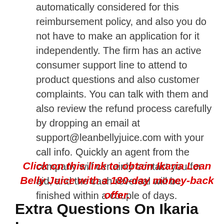automatically considered for this reimbursement policy, and also you do not have to make an application for it independently. The firm has an active consumer support line to attend to product questions and also customer complaints. You can talk with them and also review the refund process carefully by dropping an email at support@leanbellyjuice.com with your call info. Quickly an agent from the company will certainly contact you for aid, and the cash reversal will be finished within a couple of days.
Click on this link to obtain Ikaria Lean Belly Juice with a 180-day money-back offer.
Extra Questions On Ikaria Lean